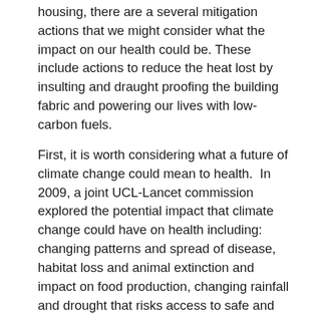housing, there are a several mitigation actions that we might consider what the impact on our health could be. These include actions to reduce the heat lost by insulting and draught proofing the building fabric and powering our lives with low-carbon fuels.
First, it is worth considering what a future of climate change could mean to health.  In 2009, a joint UCL-Lancet commission explored the potential impact that climate change could have on health including: changing patterns and spread of disease, habitat loss and animal extinction and impact on food production, changing rainfall and drought that risks access to safe and clean water, infrastructure failure and access to energy, and the increased risk of extreme events.  They noted that these events would lead to exacerbating inequality by increasing instability and competition for resources with